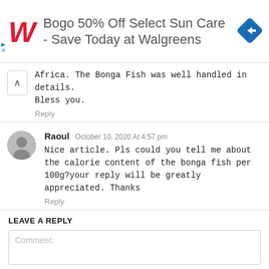[Figure (other): Walgreens advertisement banner: red cursive W logo, text 'Bogo 50% Off Select Sun Care - Save Today at Walgreens', blue diamond navigation icon]
Africa. The Bonga Fish was well handled in details. Bless you.
Reply
Raoul October 10, 2020 At 4:57 pm
Nice article. Pls could you tell me about the calorie content of the bonga fish per 100g?your reply will be greatly appreciated. Thanks
Reply
LEAVE A REPLY
Comment: